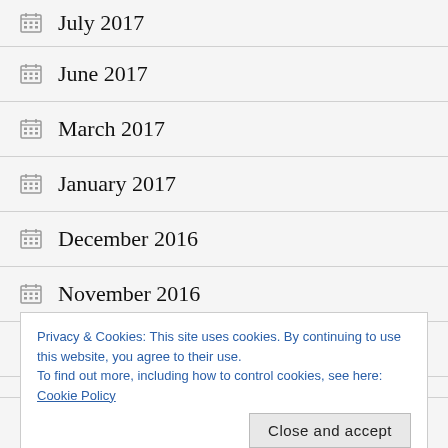July 2017
June 2017
March 2017
January 2017
December 2016
November 2016
October 2016
Privacy & Cookies: This site uses cookies. By continuing to use this website, you agree to their use.
To find out more, including how to control cookies, see here: Cookie Policy
May 2016